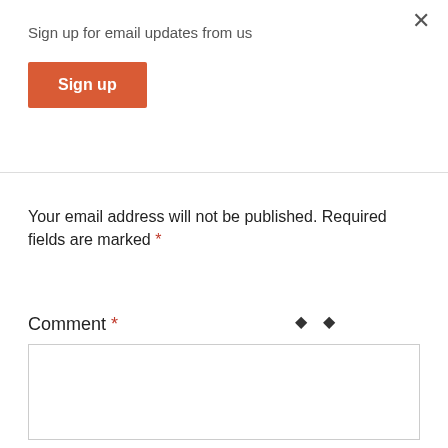Sign up for email updates from us
Sign up
[Figure (other): Social media icons (Facebook, Twitter) partially visible above a horizontal divider line]
Your email address will not be published. Required fields are marked *
Comment *